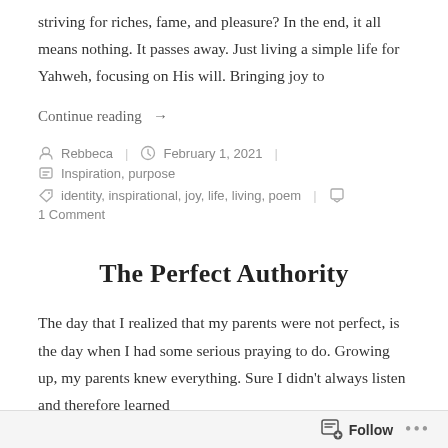striving for riches, fame, and pleasure? In the end, it all means nothing. It passes away. Just living a simple life for Yahweh, focusing on His will. Bringing joy to
Continue reading →
Rebbeca  February 1, 2021  Inspiration, purpose  identity, inspirational, joy, life, living, poem  1 Comment
The Perfect Authority
The day that I realized that my parents were not perfect, is the day when I had some serious praying to do. Growing up, my parents knew everything. Sure I didn't always listen and therefore learned
Follow  •••